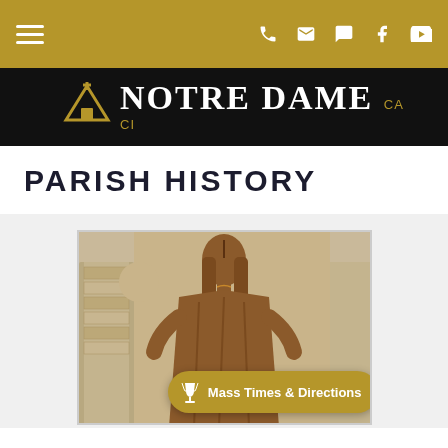Notre Dame Catholic Church — navigation bar with hamburger menu and icons
[Figure (logo): Notre Dame logo with gold cross/chapel icon and white bold serif text 'NOTRE DAME' on black background]
PARISH HISTORY
[Figure (photo): Bronze statue of the Virgin Mary, with long hair and robes, set against a stone arch backdrop inside the church. A golden 'Mass Times & Directions' button overlays the bottom right of the image.]